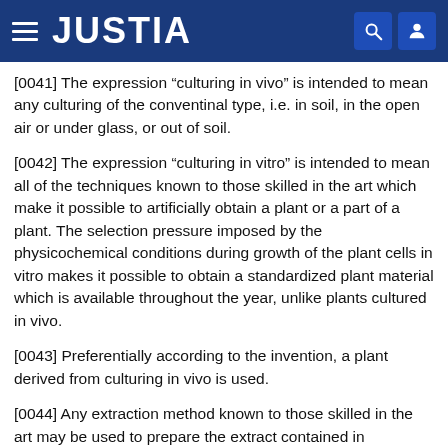JUSTIA
[0041] The expression “culturing in vivo” is intended to mean any culturing of the conventinal type, i.e. in soil, in the open air or under glass, or out of soil.
[0042] The expression “culturing in vitro” is intended to mean all of the techniques known to those skilled in the art which make it possible to artificially obtain a plant or a part of a plant. The selection pressure imposed by the physicochemical conditions during growth of the plant cells in vitro makes it possible to obtain a standardized plant material which is available throughout the year, unlike plants cultured in vivo.
[0043] Preferentially according to the invention, a plant derived from culturing in vivo is used.
[0044] Any extraction method known to those skilled in the art may be used to prepare the extract contained in